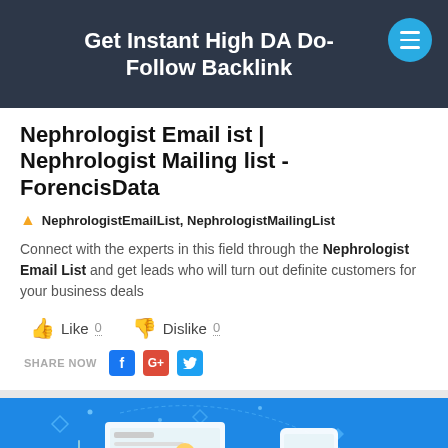Get Instant High DA Do-Follow Backlink
Nephrologist Email ist | Nephrologist Mailing list - ForencisData
NephrologistEmailList, NephrologistMailingList
Connect with the experts in this field through the Nephrologist Email List and get leads who will turn out definite customers for your business deals
[Figure (screenshot): Blue promotional banner with device illustrations for Nephrologist Email List]